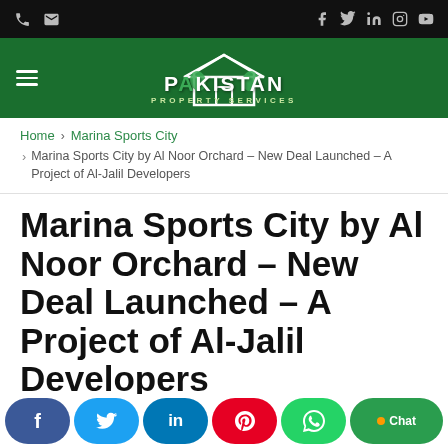Pakistan Property Services – site header with navigation icons
Home > Marina Sports City
Marina Sports City by Al Noor Orchard – New Deal Launched – A Project of Al-Jalil Developers
Marina Sports City by Al Noor Orchard – New Deal Launched – A Project of Al-Jalil Developers
8 months ago
[Figure (logo): Pakistan Property Services logo – white house/tree icon with green banner text]